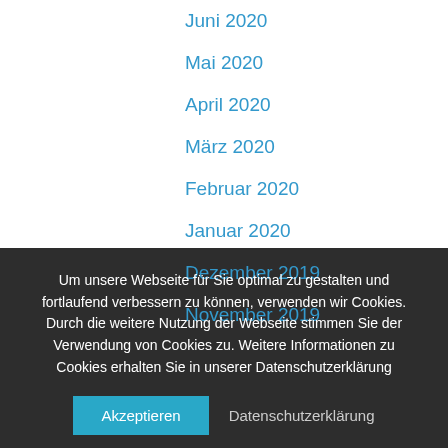Juni 2020
Mai 2020
April 2020
März 2020
Februar 2020
Januar 2020
Dezember 2019
November 2019
Um unsere Webseite für Sie optimal zu gestalten und fortlaufend verbessern zu können, verwenden wir Cookies. Durch die weitere Nutzung der Webseite stimmen Sie der Verwendung von Cookies zu. Weitere Informationen zu Cookies erhalten Sie in unserer Datenschutzerklärung
Akzeptieren
Datenschutzerklärung